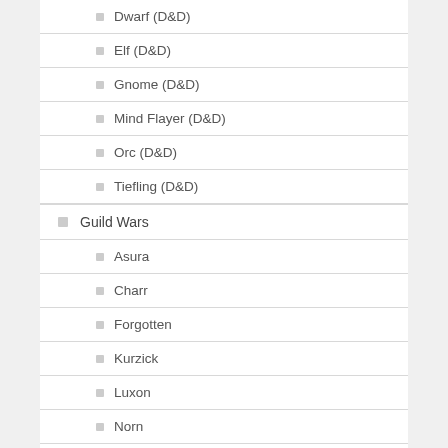Dwarf (D&D)
Elf (D&D)
Gnome (D&D)
Mind Flayer (D&D)
Orc (D&D)
Tiefling (D&D)
Guild Wars
Asura
Charr
Forgotten
Kurzick
Luxon
Norn
Sylvari
Vabbian